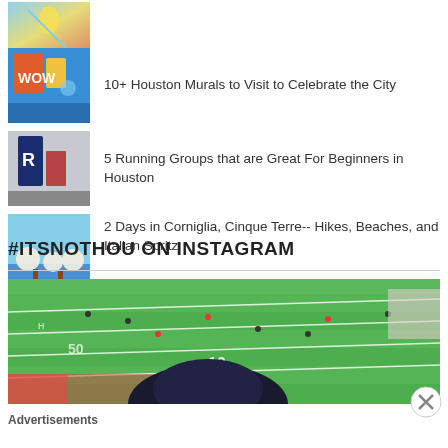[Figure (photo): Thumbnail image - colorful mural or dancer]
10+ Houston Murals to Visit to Celebrate the City
[Figure (photo): Thumbnail image - Houston mural with people]
5 Running Groups that are Great For Beginners in Houston
[Figure (photo): Thumbnail image - coastal scene with umbrellas]
2 Days in Corniglia, Cinque Terre-- Hikes, Beaches, and Italian Spritz
#ITSNOTHOU ON INSTAGRAM
[Figure (photo): Football field aerial view with players and spectator in foreground wearing dark cap]
Advertisements